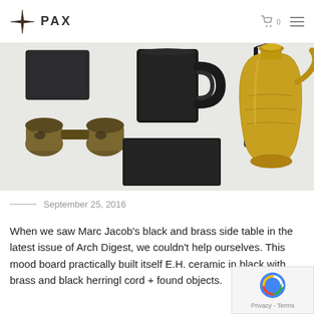PAX
[Figure (photo): Flatlay photograph of various black and brass objects: binoculars, black mug, black slate tile, black rectangular card, a tassel/brush, and a brass decorative pitcher/vase, arranged on white background]
September 25, 2016
When we saw Marc Jacob's black and brass side table in the latest issue of Arch Digest, we couldn't help ourselves. This mood board practically built itself E.H. ceramic in black with brass and black herringl cord + found objects.